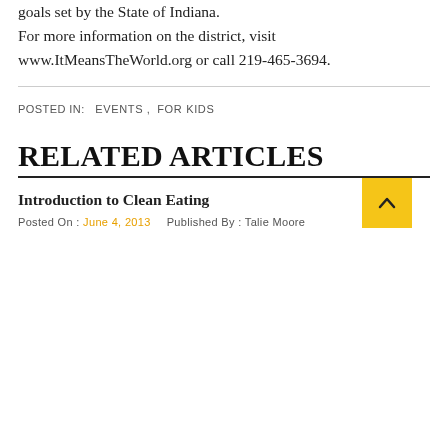goals set by the State of Indiana. For more information on the district, visit www.ItMeansTheWorld.org or call 219-465-3694.
POSTED IN: EVENTS , FOR KIDS
RELATED ARTICLES
Introduction to Clean Eating
Posted On : June 4, 2013   Published By : Talie Moore